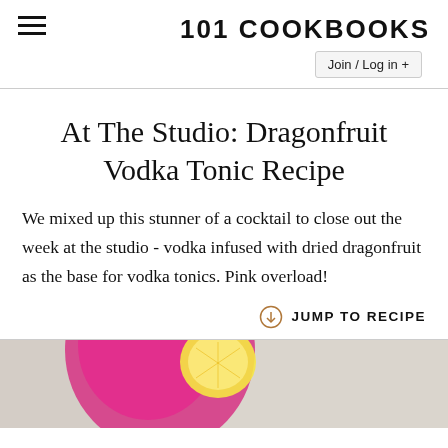101 COOKBOOKS
Join / Log in +
At The Studio: Dragonfruit Vodka Tonic Recipe
We mixed up this stunner of a cocktail to close out the week at the studio - vodka infused with dried dragonfruit as the base for vodka tonics. Pink overload!
JUMP TO RECIPE
[Figure (photo): Top-down photo of a pink dragonfruit vodka tonic cocktail in a glass with a lemon slice garnish, on a light marble/stone surface]